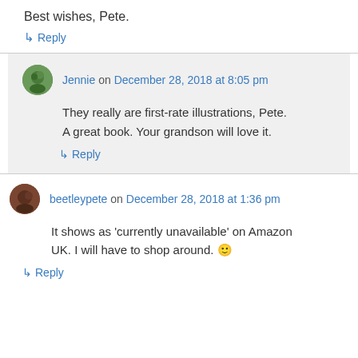Best wishes, Pete.
↳ Reply
Jennie on December 28, 2018 at 8:05 pm
They really are first-rate illustrations, Pete. A great book. Your grandson will love it.
↳ Reply
beetleypete on December 28, 2018 at 1:36 pm
It shows as 'currently unavailable' on Amazon UK. I will have to shop around. 🙂
↳ Reply